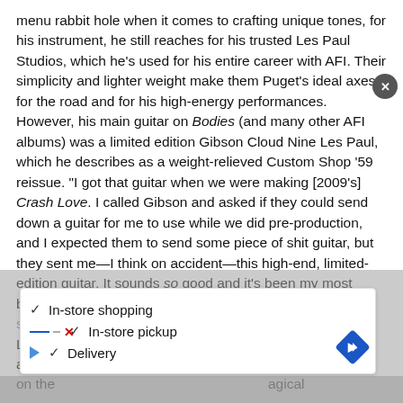menu rabbit hole when it comes to crafting unique tones, for his instrument, he still reaches for his trusted Les Paul Studios, which he's used for his entire career with AFI. Their simplicity and lighter weight make them Puget's ideal axes for the road and for his high-energy performances. However, his main guitar on Bodies (and many other AFI albums) was a limited edition Gibson Cloud Nine Les Paul, which he describes as a weight-relieved Custom Shop '59 reissue. "I got that guitar when we were making [2009's] Crash Love. I called Gibson and asked if they could send down a guitar for me to use while we did pre-production, and I expected them to send some piece of shit guitar, but they sent me—I think on accident—this high-end, limited-edition guitar. It sounds so good and it's been my most beloved Les Paul since I got it. ...
[Figure (screenshot): Ad overlay showing store availability: In-store shopping, In-store pickup, Delivery with checkmarks, navigation arrow diamond, play button icon, and X close button.]